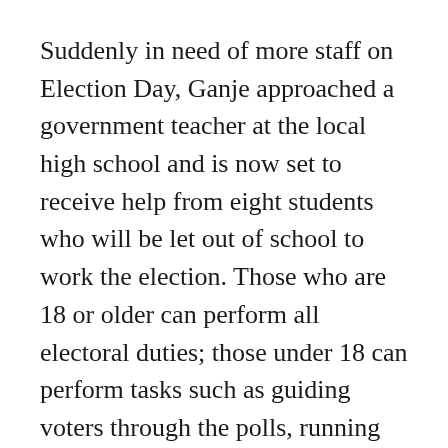Suddenly in need of more staff on Election Day, Ganje approached a government teacher at the local high school and is now set to receive help from eight students who will be let out of school to work the election. Those who are 18 or older can perform all electoral duties; those under 18 can perform tasks such as guiding voters through the polls, running errands or disinfecting voting equipment.
“We hope it’s a super experience for them,” Ganje said. “I think it’s exciting to see the interest from the younger ones to pitch in and help, and hopefully we’ll hold to them in